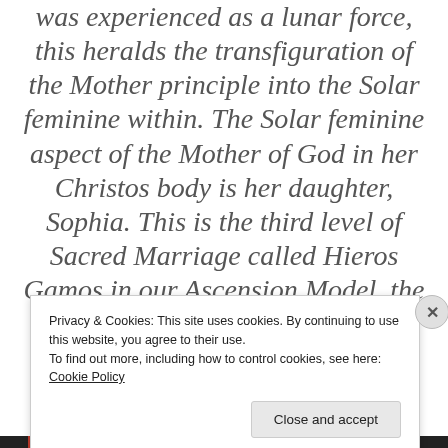was experienced as a lunar force, this heralds the transfiguration of the Mother principle into the Solar feminine within. The Solar feminine aspect of the Mother of God in her Christos body is her daughter, Sophia. This is the third level of Sacred Marriage called Hieros Gamos in our Ascension Model, the
Privacy & Cookies: This site uses cookies. By continuing to use this website, you agree to their use.
To find out more, including how to control cookies, see here: Cookie Policy